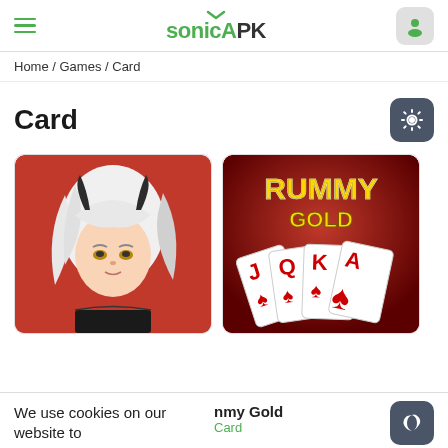sonicAPK
Home / Games / Card
Card
[Figure (screenshot): App icon for an anime card game showing a white-haired female character on a red background]
[Figure (screenshot): Rummy Gold card game app icon showing J, Q, K, A playing cards on a red background with gold text]
We use cookies on our website to
nmy Gold
Card
Adventure: